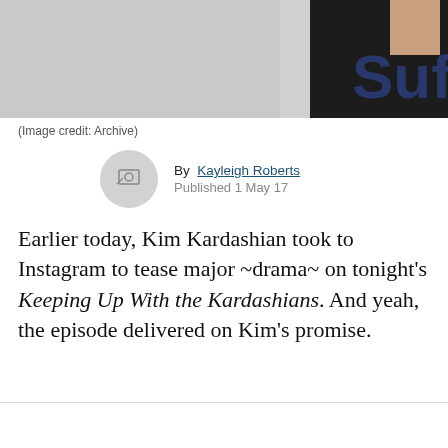[Figure (photo): Cropped photo of a woman in a black outfit, with a partial logo reading 'Sufu' visible in the upper right background]
(Image credit: Archive)
By Kayleigh Roberts
Published 1 May 17
Earlier today, Kim Kardashian took to Instagram to tease major ~drama~ on tonight's Keeping Up With the Kardashians. And yeah, the episode delivered on Kim's promise.